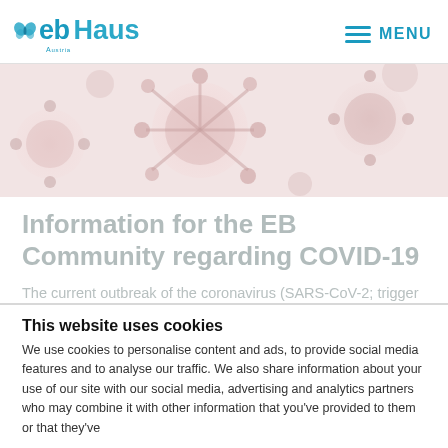eb Haus Austria — MENU
[Figure (photo): Faded/light pink and red microscopic coronavirus (SARS-CoV-2) illustration used as a hero banner image]
Information for the EB Community regarding COVID-19
The current outbreak of the coronavirus (SARS-CoV-2; trigger of the disease COVID-19) has led to great uncertainty and
This website uses cookies
We use cookies to personalise content and ads, to provide social media features and to analyse our traffic. We also share information about your use of our site with our social media, advertising and analytics partners who may combine it with other information that you've provided to them or that they've